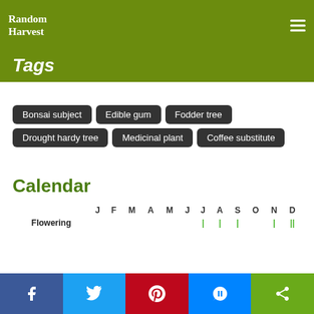Random Harvest
Tags
Bonsai subject
Edible gum
Fodder tree
Drought hardy tree
Medicinal plant
Coffee substitute
Calendar
|  | J | F | M | A | M | J | J | A | S | O | N | D |
| --- | --- | --- | --- | --- | --- | --- | --- | --- | --- | --- | --- | --- |
| Flowering |  |  |  |  |  |  | | | | | | |  | | | || |